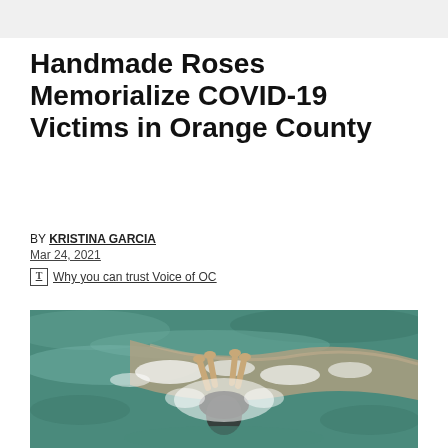Handmade Roses Memorialize COVID-19 Victims in Orange County
BY KRISTINA GARCIA
Mar 24, 2021
Why you can trust Voice of OC
[Figure (photo): Aerial view of a person in dark shorts being splashed by ocean waves on a sandy beach shoreline, seen from above.]